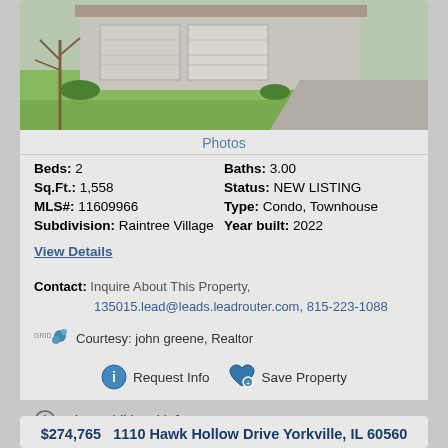[Figure (photo): Exterior photo of a residential house with two-car garage, green lawn, driveway on the right, and landscaping in front.]
Photos
Beds: 2    Baths: 3.00
Sq.Ft.: 1,558    Status: NEW LISTING
MLS#: 11609966    Type: Condo, Townhouse
Subdivision: Raintree Village    Year built: 2022
View Details
Contact: Inquire About This Property, 135015.lead@leads.leadrouter.com, 815-223-1088
Courtesy: john greene, Realtor
Request Info   Save Property
View additional info
$274,765  1110 Hawk Hollow Drive Yorkville, IL 60560